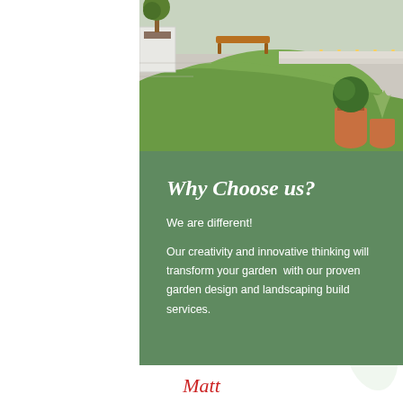[Figure (photo): Aerial/overhead view of a modern garden with green lawn, paved patio, wooden bench, white planter boxes with trees, and terracotta pots with topiary bushes]
Why Choose us?
We are different!
Our creativity and innovative thinking will transform your garden  with our proven garden design and landscaping build services.
Matt